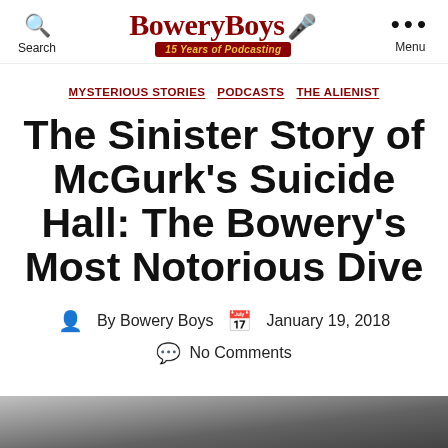Search | BoweryBoys 15 Years of Podcasting | Menu
MYSTERIOUS STORIES  PODCASTS  THE ALIENIST
The Sinister Story of McGurk's Suicide Hall: The Bowery's Most Notorious Dive
By Bowery Boys  January 19, 2018
No Comments
[Figure (photo): Black and white historical photograph partially visible at the bottom of the page]